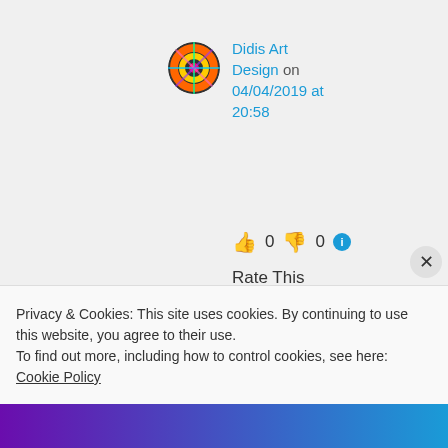[Figure (illustration): Colorful circular avatar with rainbow/kaleidoscope pattern]
Didis Art Design on 04/04/2019 at 20:58
👍 0 👎 0 ℹ️
Rate This
Welcome, dear Ilona 🙂 Spirituality is indeed
Privacy & Cookies: This site uses cookies. By continuing to use this website, you agree to their use.
To find out more, including how to control cookies, see here: Cookie Policy
Close and accept